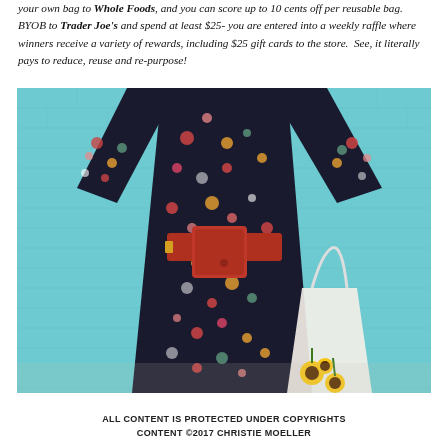your own bag to Whole Foods, and you can score up to 10 cents off per reusable bag. BYOB to Trader Joe's and spend at least $25- you are entered into a weekly raffle where winners receive a variety of rewards, including $25 gift cards to the store. See, it literally pays to reduce, reuse and re-purpose!
[Figure (photo): A woman wearing a dark floral maxi dress with red belt bag, standing against a light teal/mint painted brick wall, holding a white reusable tote bag with sunflowers. Her head is cropped out of frame.]
ALL CONTENT IS PROTECTED UNDER COPYRIGHTS CONTENT ©2017 CHRISTIE MOELLER